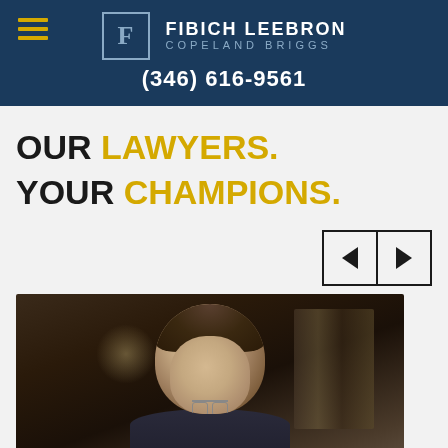FIBICH LEEBRON COPELAND BRIGGS (346) 616-9561
OUR LAWYERS. YOUR CHAMPIONS.
[Figure (photo): Portrait photograph of a lawyer with glasses and dark hair, wearing a dark suit, photographed in front of bookshelves in a law office setting.]